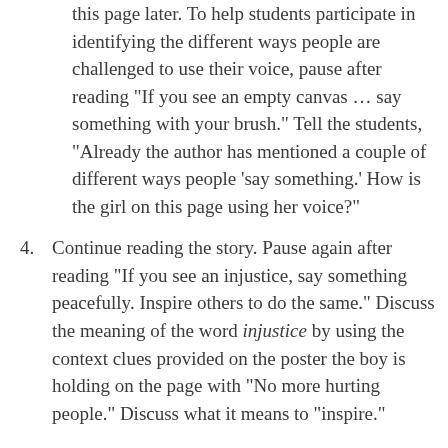this page later. To help students participate in identifying the different ways people are challenged to use their voice, pause after reading “If you see an empty canvas … say something with your brush.”  Tell the students, “Already the author has mentioned a couple of different ways people ‘say something.’  How is the girl on this page using her voice?”
4. Continue reading the story. Pause again after reading “If you see an injustice, say something peacefully. Inspire others to do the same.” Discuss the meaning of the word injustice by using the context clues provided on the poster the boy is holding on the page with “No more hurting people.”  Discuss what it means to “inspire.”
5. Finish the story and show the inside back cover page. Ask students to notice the word bubbles on